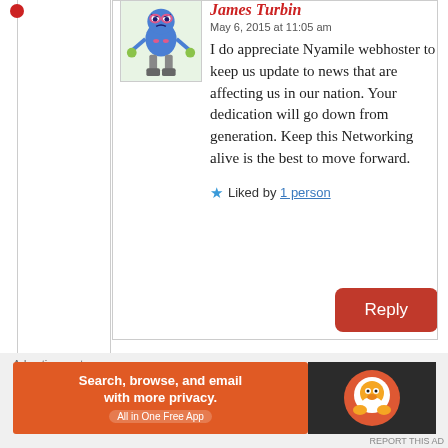James Turbin
May 6, 2015 at 11:05 am
I do appreciate Nyamile webhoster to keep us update to news that are affecting us in our nation. Your dedication will go down from generation. Keep this Networking alive is the best to move forward.
Liked by 1 person
Reply
Advertisements
[Figure (screenshot): DuckDuckGo advertisement banner: 'Search, browse, and email with more privacy. All in One Free App' on orange background with DuckDuckGo logo on dark background]